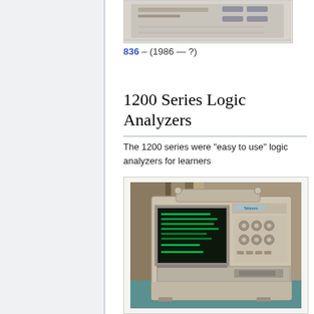[Figure (photo): Partial view of a Tektronix 836 logic analyzer instrument from above, showing top panel with controls]
836 – (1986 — ?)
1200 Series Logic Analyzers
The 1200 series were "easy to use" logic analyzers for learners
[Figure (photo): Photograph of a Tektronix 1200 series logic analyzer, showing a cream/beige colored portable unit with a CRT display showing green text and a control panel with knobs and buttons on the right side]